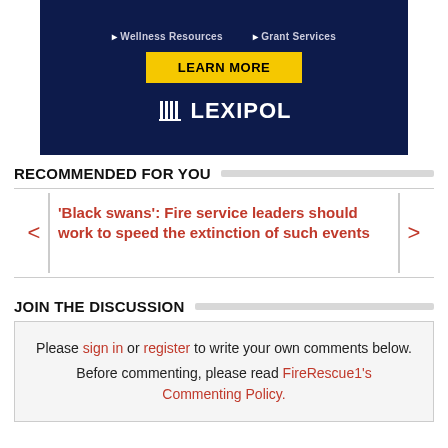[Figure (screenshot): Lexipol advertisement banner with dark navy background showing 'Wellness Resources' and 'Grant Services' bullet points, a yellow 'LEARN MORE' button, and the Lexipol logo at the bottom.]
RECOMMENDED FOR YOU
'Black swans': Fire service leaders should work to speed the extinction of such events
JOIN THE DISCUSSION
Please sign in or register to write your own comments below. Before commenting, please read FireRescue1's Commenting Policy.